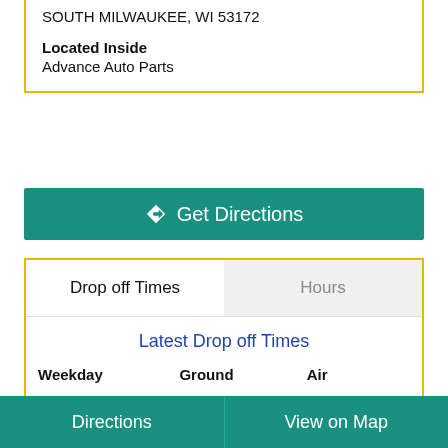SOUTH MILWAUKEE, WI 53172
Located Inside
Advance Auto Parts
Get Directions
Drop off Times
Hours
Latest Drop off Times
| Weekday | Ground | Air |
| --- | --- | --- |
| Mon - Fri | 3:00 PM | 3:00 PM |
| Sat | 3:00 PM | 3:00 PM |
Directions	View on Map